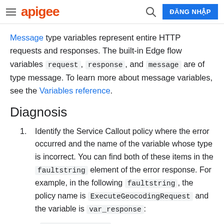apigee | ĐĂNG NHẬP
Message type variables represent entire HTTP requests and responses. The built-in Edge flow variables request, response, and message are of type message. To learn more about message variables, see the Variables reference.
Diagnosis
Identify the Service Callout policy where the error occurred and the name of the variable whose type is incorrect. You can find both of these items in the faultstring element of the error response. For example, in the following faultstring, the policy name is ExecuteGeocodingRequest and the variable is var_response:
"faultstring":